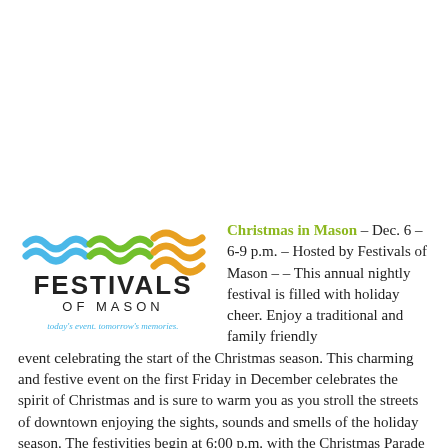[Figure (logo): Festivals of Mason logo — three wave shapes in blue, green, orange above bold text FESTIVALS OF MASON and italic tagline 'today's event. tomorrow's memories.']
Christmas in Mason – Dec. 6 – 6-9 p.m. – Hosted by Festivals of Mason –  – This annual nightly festival is filled with holiday cheer. Enjoy a traditional and family friendly event celebrating the start of the Christmas season. This charming and festive event on the first Friday in December celebrates the spirit of Christmas and is sure to warm you as you stroll the streets of downtown enjoying the sights, sounds and smells of the holiday season. The festivities begin at 6:00 p.m. with the Christmas Parade featuring the Santa Paws dog event hosting the Christmas in Mason Pageant winners and